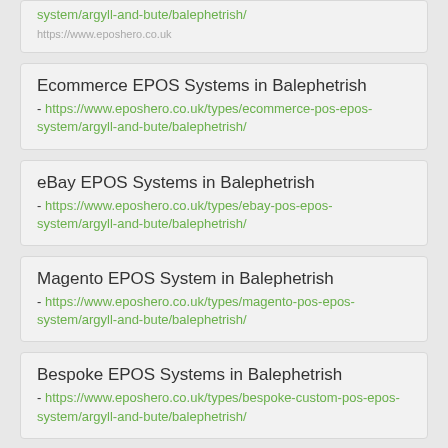system/argyll-and-bute/balephetrish/
https://www.eposhero.co.uk/...
Ecommerce EPOS Systems in Balephetrish - https://www.eposhero.co.uk/types/ecommerce-pos-epos-system/argyll-and-bute/balephetrish/
eBay EPOS Systems in Balephetrish - https://www.eposhero.co.uk/types/ebay-pos-epos-system/argyll-and-bute/balephetrish/
Magento EPOS System in Balephetrish - https://www.eposhero.co.uk/types/magento-pos-epos-system/argyll-and-bute/balephetrish/
Bespoke EPOS Systems in Balephetrish - https://www.eposhero.co.uk/types/bespoke-custom-pos-epos-system/argyll-and-bute/balephetrish/